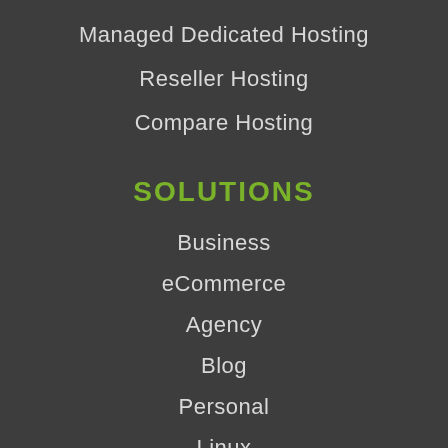Managed Dedicated Hosting
Reseller Hosting
Compare Hosting
SOLUTIONS
Business
eCommerce
Agency
Blog
Personal
Linux
cPanel Hosting